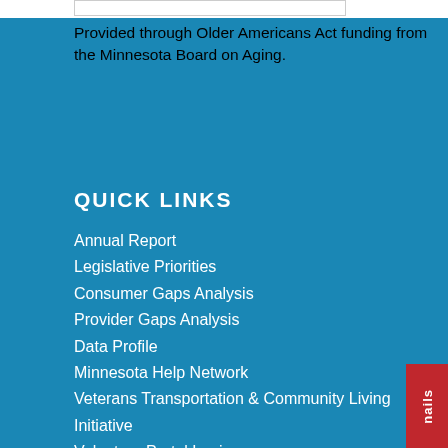[Figure (logo): White logo/header bar at top of page]
Provided through Older Americans Act funding from the Minnesota Board on Aging.
QUICK LINKS
Annual Report
Legislative Priorities
Consumer Gaps Analysis
Provider Gaps Analysis
Data Profile
Minnesota Help Network
Veterans Transportation & Community Living Initiative
Volunteer Portal Login
Board Login